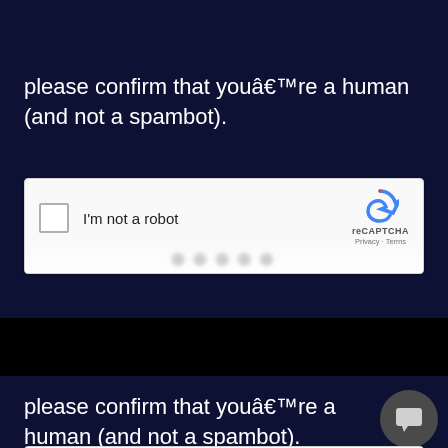[Figure (screenshot): Screenshot of a web page showing a CAPTCHA verification prompt with reCAPTCHA widget. The page has a dark navy background. Text reads: 'please confirm that youâ€™re a human (and not a spambot).' with an reCAPTCHA checkbox widget showing 'I’m not a robot'. The page appears twice (top and bottom sections) with a black gap between.]
please confirm that youâ€™re a human (and not a spambot).
please confirm that youâ€™re a human (and not a spambot).